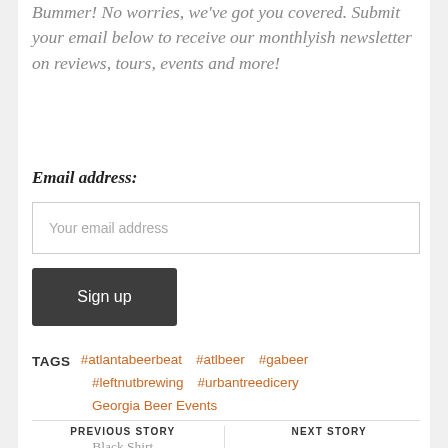Bummer! No worries, we've got you covered. Submit your email below to receive our monthlyish newsletter on reviews, tours, events and more!
Email address:
Your email address
Sign up
TAGS  #atlantabeerbeat  #atlbeer  #gabeer  #leftnutbrewing  #urbantreedicery  Georgia Beer Events
PREVIOUS STORY
Black Shirt
NEXT STORY